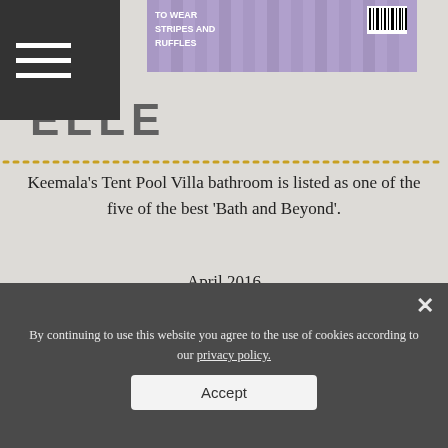[Figure (photo): Magazine cover fragment showing fashion content with text 'TO WEAR STRIPES AND RUFFLES' and purple/striped fabric, with barcode visible]
ELLE
Keemala's Tent Pool Villa bathroom is listed as one of the five of the best 'Bath and Beyond'.
April 2016
SHARE THIS PAGE
By continuing to use this website you agree to the use of cookies according to our privacy policy.
Accept